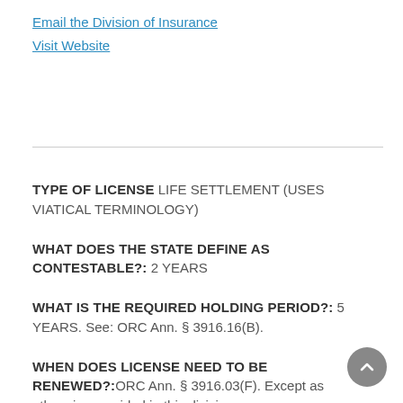Email the Division of Insurance
Visit Website
TYPE OF LICENSE LIFE SETTLEMENT (USES VIATICAL TERMINOLOGY)
WHAT DOES THE STATE DEFINE AS CONTESTABLE?: 2 YEARS
WHAT IS THE REQUIRED HOLDING PERIOD?: 5 YEARS. See: ORC Ann. § 3916.16(B).
WHEN DOES LICENSE NEED TO BE RENEWED?:ORC Ann. § 3916.03(F). Except as otherwise provided in this division, a